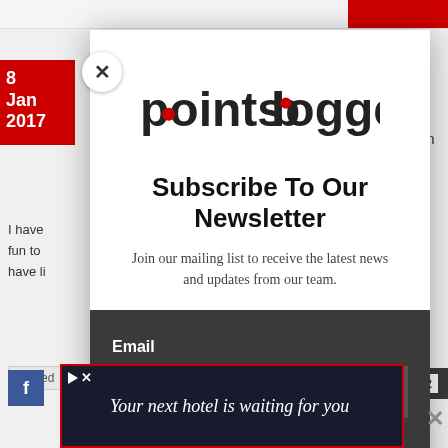[Figure (screenshot): Website screenshot showing a newsletter subscription modal popup for 'pointsblogger'. The modal has a white upper section with the pointsblogger logo and text 'Subscribe To Our Newsletter' and subtitle text, plus a dark lower section with an Email label and input field. Partially visible behind modal: date badge (8 Jan 2017), close X button, partial page text, Facebook icon, MORE badge, and a hotel advertisement banner at bottom.]